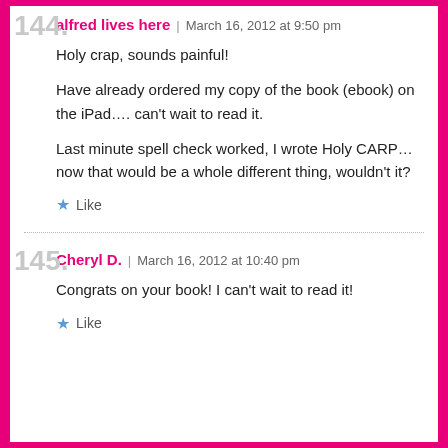144. alfred lives here | March 16, 2012 at 9:50 pm
Holy crap, sounds painful!

Have already ordered my copy of the book (ebook) on the iPad…. can't wait to read it.

Last minute spell check worked, I wrote Holy CARP… now that would be a whole different thing, wouldn't it?
Like
145. Cheryl D. | March 16, 2012 at 10:40 pm
Congrats on your book! I can't wait to read it!
Like